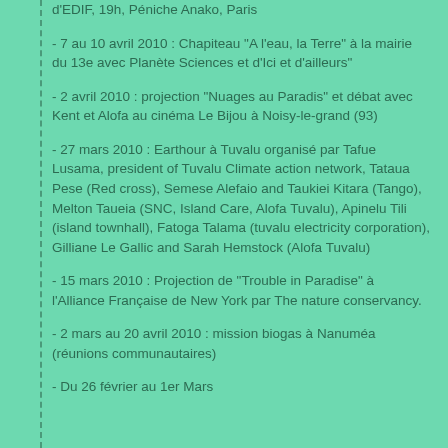d'EDIF, 19h, Péniche Anako, Paris
- 7 au 10 avril 2010 : Chapiteau "A l'eau, la Terre" à la mairie du 13e avec Planète Sciences et d'Ici et d'ailleurs"
- 2 avril 2010 : projection "Nuages au Paradis" et débat avec Kent et Alofa au cinéma Le Bijou à Noisy-le-grand (93)
- 27 mars 2010 : Earthour à Tuvalu organisé par Tafue Lusama, president of Tuvalu Climate action network, Tataua Pese (Red cross), Semese Alefaio and Taukiei Kitara (Tango), Melton Taueia (SNC, Island Care, Alofa Tuvalu), Apinelu Tili (island townhall), Fatoga Talama (tuvalu electricity corporation), Gilliane Le Gallic and Sarah Hemstock (Alofa Tuvalu)
- 15 mars 2010 : Projection de "Trouble in Paradise" à l'Alliance Française de New York par The nature conservancy.
- 2 mars au 20 avril 2010 : mission biogas à Nanuméa (réunions communautaires)
- Du 26 février au 1er Mars